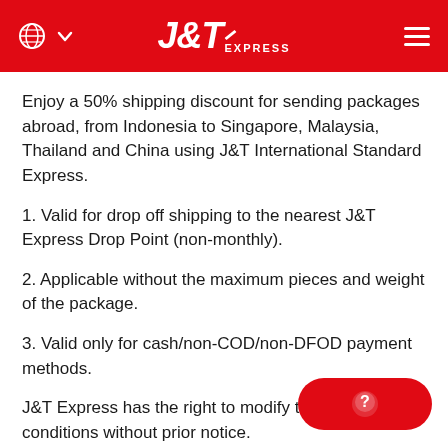J&T EXPRESS
Enjoy a 50% shipping discount for sending packages abroad, from Indonesia to Singapore, Malaysia, Thailand and China using J&T International Standard Express.
1. Valid for drop off shipping to the nearest J&T Express Drop Point (non-monthly).
2. Applicable without the maximum pieces and weight of the package.
3. Valid only for cash/non-COD/non-DFOD payment methods.
J&T Express has the right to modify the terms & conditions without prior notice.
*International shipping to China is currently closed